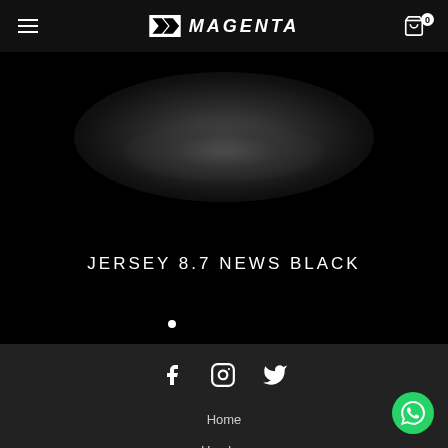MAGENTA
[Figure (illustration): Dark hero image with subtle radial gradient highlight showing JERSEY 8.7 NEWS BLACK product]
JERSEY 8.7 NEWS BLACK
[Figure (infographic): Social media icons: Facebook, Instagram, Twitter in white on dark background]
Home
Hombre